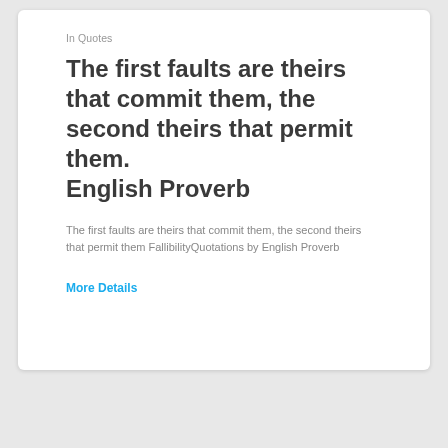In Quotes
The first faults are theirs that commit them, the second theirs that permit them. English Proverb
The first faults are theirs that commit them, the second theirs that permit them FallibilityQuotations by English Proverb
More Details